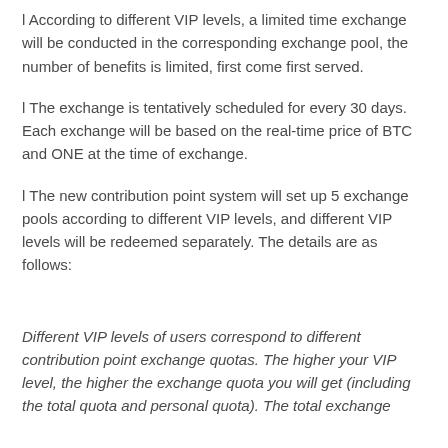l According to different VIP levels, a limited time exchange will be conducted in the corresponding exchange pool, the number of benefits is limited, first come first served.
l The exchange is tentatively scheduled for every 30 days. Each exchange will be based on the real-time price of BTC and ONE at the time of exchange.
l The new contribution point system will set up 5 exchange pools according to different VIP levels, and different VIP levels will be redeemed separately. The details are as follows:
Different VIP levels of users correspond to different contribution point exchange quotas. The higher your VIP level, the higher the exchange quota you will get (including the total quota and personal quota). The total exchange